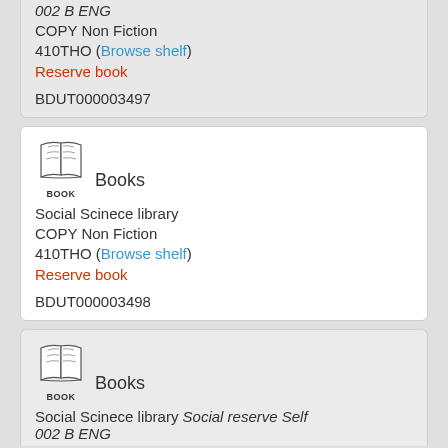002 B ENG
COPY Non Fiction
410THO (Browse shelf)
Reserve book
BDUT000003497
[Figure (illustration): Open book icon with BOOK label below]
Books
Social Scinece library
COPY Non Fiction
410THO (Browse shelf)
Reserve book
BDUT000003498
[Figure (illustration): Open book icon with BOOK label below]
Books
Social Scinece library Social reserve Self 002 B ENG